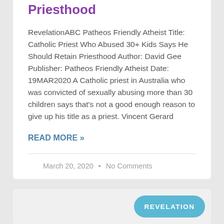Priesthood
RevelationABC Patheos Friendly Atheist Title: Catholic Priest Who Abused 30+ Kids Says He Should Retain Priesthood Author: David Gee Publisher: Patheos Friendly Atheist Date: 19MAR2020 A Catholic priest in Australia who was convicted of sexually abusing more than 30 children says that's not a good enough reason to give up his title as a priest. Vincent Gerard
READ MORE »
March 20, 2020 • No Comments
[Figure (other): A teal/blue rounded button badge with the text REVELATION]